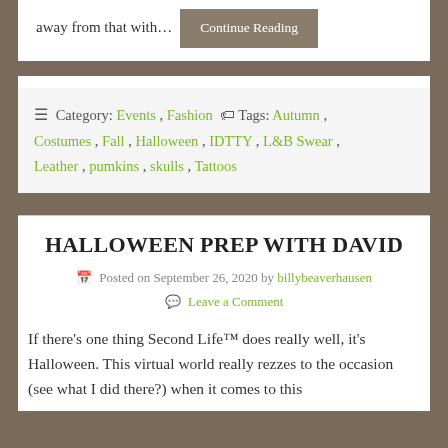away from that with… Continue Reading
☰ Category: Events, Fashion 🏷 Tags: Autumn, Costumes, Fall, Halloween, IDTTY, L&B Swear, Leather, pumkins, skulls, Tattoos
HALLOWEEN PREP WITH DAVID
Posted on September 26, 2020 by billybeaverhausen Leave a Comment
If there's one thing Second Life™ does really well, it's Halloween. This virtual world really rezzes to the occasion (see what I did there?) when it comes to this